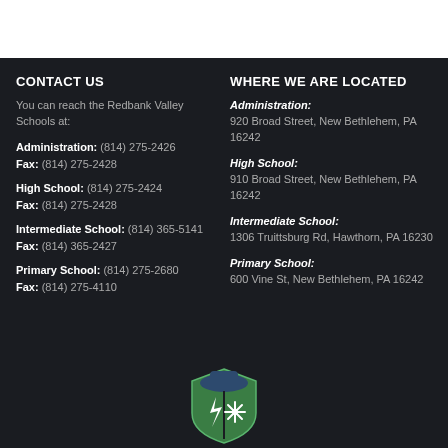CONTACT US
You can reach the Redbank Valley Schools at:
Administration: (814) 275-2426
Fax: (814) 275-2428
High School: (814) 275-2424
Fax: (814) 275-2428
Intermediate School: (814) 365-5141
Fax: (814) 365-2427
Primary School: (814) 275-2680
Fax: (814) 275-4110
WHERE WE ARE LOCATED
Administration:
920 Broad Street, New Bethlehem, PA 16242
High School:
910 Broad Street, New Bethlehem, PA 16242
Intermediate School:
1306 Truittsburg Rd, Hawthorn, PA 16230
Primary School:
600 Vine St, New Bethlehem, PA 16242
[Figure (logo): School/app logo: shield shape with lightning bolt and snowflake icons, green and dark blue colors]